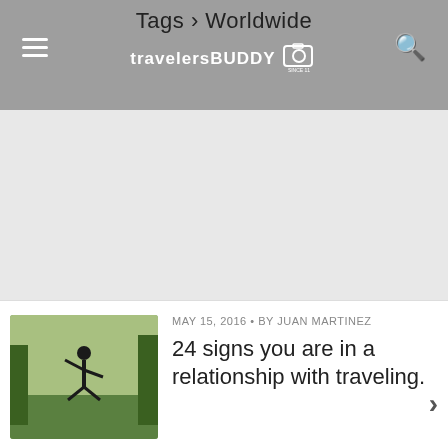Tags › Worldwide | travelersBUDDY
[Figure (other): Large advertisement/blank gray area below the header]
MAY 15, 2016 • BY JUAN MARTINEZ
24 signs you are in a relationship with traveling.
[Figure (photo): Thumbnail photo of a person jumping outdoors with trees in background]